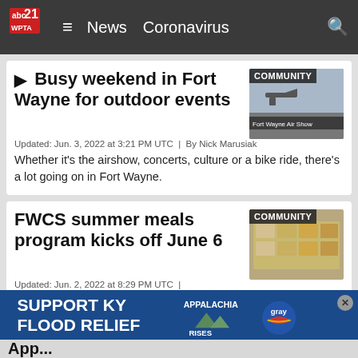abc21 WPTA | News | Coronavirus
▶ Busy weekend in Fort Wayne for outdoor events
Updated: Jun. 3, 2022 at 3:21 PM UTC  |  By Nick Marusiak
Whether it's the airshow, concerts, culture or a bike ride, there's a lot going on in Fort Wayne.
[Figure (photo): Fort Wayne Air Show thumbnail with COMMUNITY badge]
FWCS summer meals program kicks off June 6
Updated: Jun. 2, 2022 at 8:29 PM UTC  |
By Jazlynn Bebout
Fort Wayne Community Schools (FWCS) is bringing back its free summer meal program for yet another year.
[Figure (photo): Meal trays thumbnail with COMMUNITY badge]
[Figure (photo): Support KY Flood Relief advertisement banner with Appalachia Rises and Gray logos]
App...